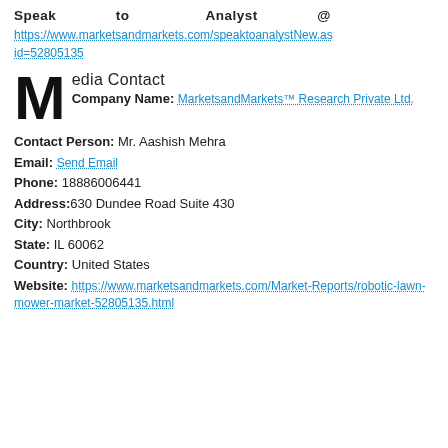Speak to Analyst @
https://www.marketsandmarkets.com/speaktoanalystNew.asp?id=52805135
Media Contact
Company Name: MarketsandMarkets™ Research Private Ltd.
Contact Person: Mr. Aashish Mehra
Email: Send Email
Phone: 18886006441
Address:630 Dundee Road Suite 430
City: Northbrook
State: IL 60062
Country: United States
Website: https://www.marketsandmarkets.com/Market-Reports/robotic-lawn-mower-market-52805135.html